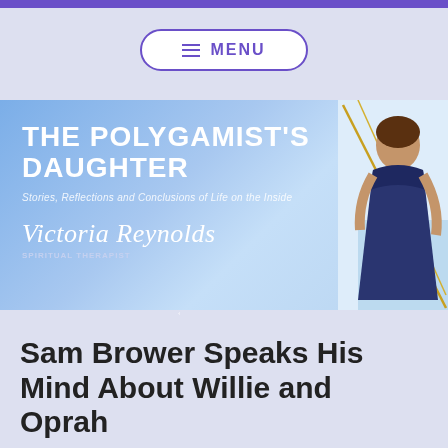[Figure (screenshot): Menu button with hamburger icon and text MENU, purple border rounded rectangle on light lavender snowy background]
[Figure (illustration): The Polygamist's Daughter blog banner. Blue/sky gradient background with white uppercase text 'THE POLYGAMIST'S DAUGHTER', italic subtitle 'Stories, Reflections and Conclusions of Life on the Inside', cursive signature 'Victoria Reynolds' with subtitle text below. Right side shows geometric triangle shapes in gold/white and a woman in a navy blue strapless gown standing outdoors near water.]
Sam Brower Speaks His Mind About Willie and Oprah